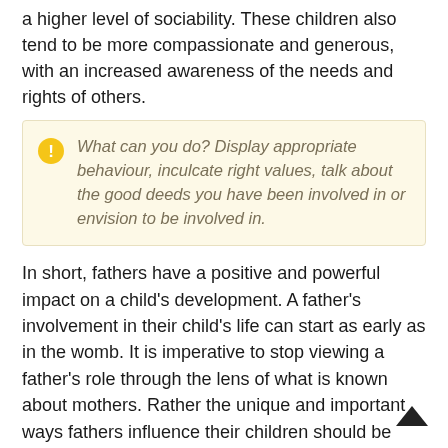a higher level of sociability. These children also tend to be more compassionate and generous, with an increased awareness of the needs and rights of others.
What can you do? Display appropriate behaviour, inculcate right values, talk about the good deeds you have been involved in or envision to be involved in.
In short, fathers have a positive and powerful impact on a child's development. A father's involvement in their child's life can start as early as in the womb. It is imperative to stop viewing a father's role through the lens of what is known about mothers. Rather the unique and important ways fathers influence their children should be emphasised upon.
Go Mommy!
This post has originally been written for